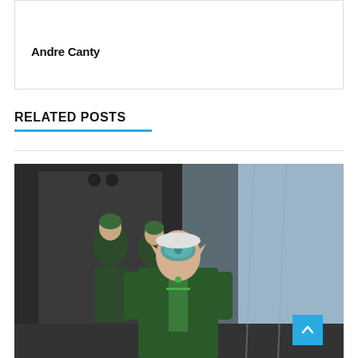Andre Canty
RELATED POSTS
[Figure (photo): Movie scene with characters in green sci-fi/fantasy military costumes. In the foreground is an older woman wearing green goggles and a green trench coat with pointed elf ears. Behind her are two other characters in dark green military uniforms.]